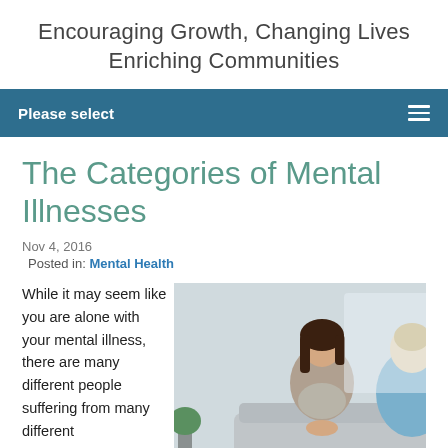Encouraging Growth, Changing Lives
Enriching Communities
Please select
The Categories of Mental Illnesses
Nov 4, 2016
Posted in: Mental Health
While it may seem like you are alone with your mental illness, there are many different people suffering from many different
[Figure (photo): Two women sitting on a couch in a therapy or counseling session, one facing the other, in a bright room.]